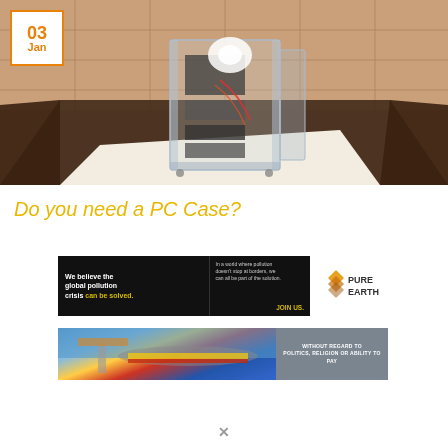[Figure (photo): Hero image showing a transparent PC case with components visible inside, placed on a white surface in a room with dark marble-look floor and terracotta/brick walls. A date badge with '03 Jan' in orange is overlaid top-left.]
Do you need a PC Case?
[Figure (illustration): Pure Earth advertisement banner. Black background left section reads 'We believe the global pollution crisis can be solved.' with 'can be solved.' in yellow. Middle section reads 'In a world where pollution doesn't stop at borders, we can all be part of the solution. JOIN US.' Right section shows Pure Earth logo with stacked diamond shapes and text 'PURE EARTH'.]
[Figure (photo): Advertisement banner showing cargo being loaded onto a colorful aircraft (Southwest Airlines style). Right portion has gray background with text 'WITHOUT REGARD TO POLITICS, RELIGION OR ABILITY TO PAY'.]
✕